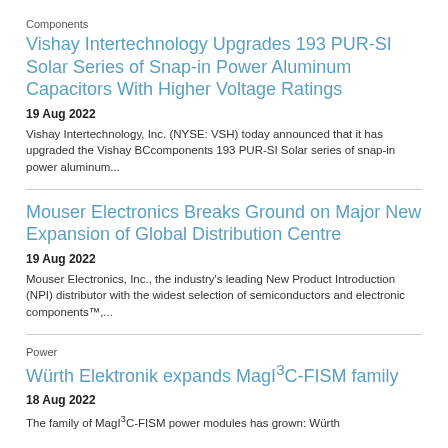Components
Vishay Intertechnology Upgrades 193 PUR-SI Solar Series of Snap-in Power Aluminum Capacitors With Higher Voltage Ratings
19 Aug 2022
Vishay Intertechnology, Inc. (NYSE: VSH) today announced that it has upgraded the Vishay BCcomponents 193 PUR-SI Solar series of snap-in power aluminum...
Mouser Electronics Breaks Ground on Major New Expansion of Global Distribution Centre
19 Aug 2022
Mouser Electronics, Inc., the industry's leading New Product Introduction (NPI) distributor with the widest selection of semiconductors and electronic components™,...
Power
Würth Elektronik expands MagI³C-FISM family
18 Aug 2022
The family of MagI³C-FISM power modules has grown: Würth